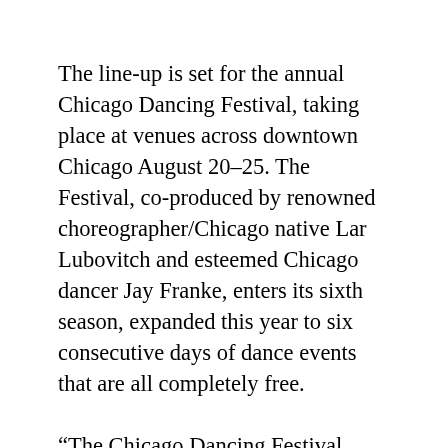The line-up is set for the annual Chicago Dancing Festival, taking place at venues across downtown Chicago August 20–25. The Festival, co-produced by renowned choreographer/Chicago native Lar Lubovitch and esteemed Chicago dancer Jay Franke, enters its sixth season, expanded this year to six consecutive days of dance events that are all completely free.
“The Chicago Dancing Festival continues to grow as one of the country’s most amazing dance showcases, bringing the best dancers and choreography from around the world to our stages,” said Chicago Mayor Rahm Emanuel. “The Festival enriches life throughout the city and in our neighborhoods, and shines a global spotlight on the wonderful culture that Chicago has to offer.”